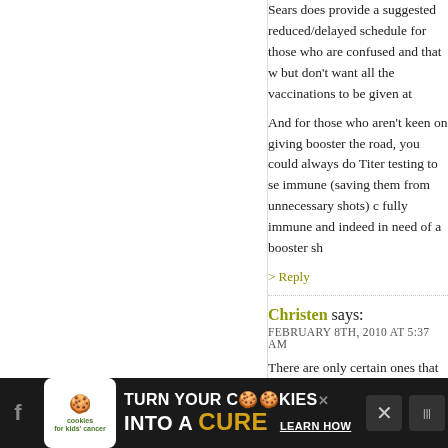Sears does provide a suggested reduced/delayed schedule for those who are confused and that w but don't want all the vaccinations to be given at
And for those who aren't keen on giving booster the road, you could always do Titer testing to se immune (saving them from unnecessary shots) c fully immune and indeed in need of a booster sh
> Reply
Christen says:
FEBRUARY 8TH, 2010 AT 5:37 AM
There are only certain ones that you can get sing was my point-we are LIMITED. My opinion is tha more options for parents, but we are limited by t come in as a single dose as oppose to a combo.
> Reply
Erin says:
[Figure (infographic): Advertisement banner: cookies for kids cancer - turn your COOKIES into a CURE LEARN HOW]